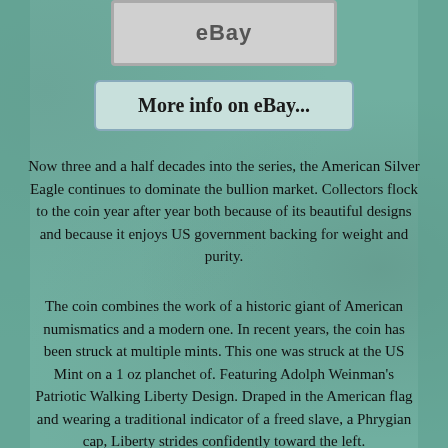[Figure (screenshot): Partial eBay logo/image at the top of the page, gray background with 'eBay' text]
More info on eBay...
Now three and a half decades into the series, the American Silver Eagle continues to dominate the bullion market. Collectors flock to the coin year after year both because of its beautiful designs and because it enjoys US government backing for weight and purity.
The coin combines the work of a historic giant of American numismatics and a modern one. In recent years, the coin has been struck at multiple mints. This one was struck at the US Mint on a 1 oz planchet of. Featuring Adolph Weinman's Patriotic Walking Liberty Design. Draped in the American flag and wearing a traditional indicator of a freed slave, a Phrygian cap, Liberty strides confidently toward the left.